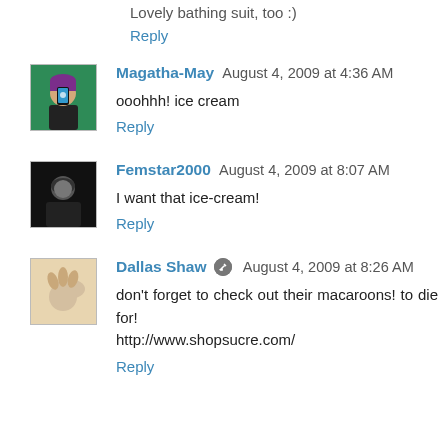Lovely bathing suit, too :)
Reply
Magatha-May  August 4, 2009 at 4:36 AM
ooohhh! ice cream
Reply
Femstar2000  August 4, 2009 at 8:07 AM
I want that ice-cream!
Reply
Dallas Shaw  August 4, 2009 at 8:26 AM
don't forget to check out their macaroons! to die for! http://www.shopsucre.com/
Reply